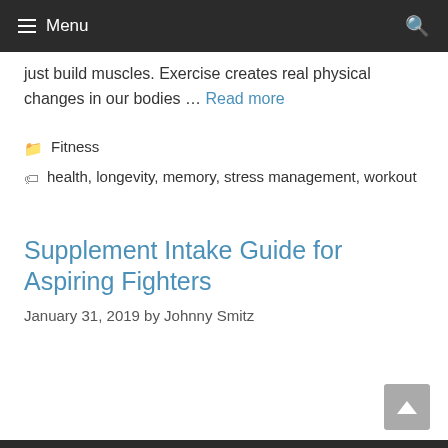Menu
just build muscles. Exercise creates real physical changes in our bodies ... Read more
Fitness
health, longevity, memory, stress management, workout
Supplement Intake Guide for Aspiring Fighters
January 31, 2019 by Johnny Smitz